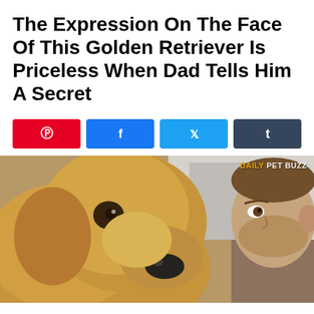The Expression On The Face Of This Golden Retriever Is Priceless When Dad Tells Him A Secret
[Figure (other): Social share buttons row: Pinterest (red), Facebook (blue), Twitter (light blue), Tumblr (dark slate)]
[Figure (photo): Close-up video still of a Golden Retriever face-to-face with a man, noses nearly touching. Watermark reads DAILY PET BUZZ in top right corner.]